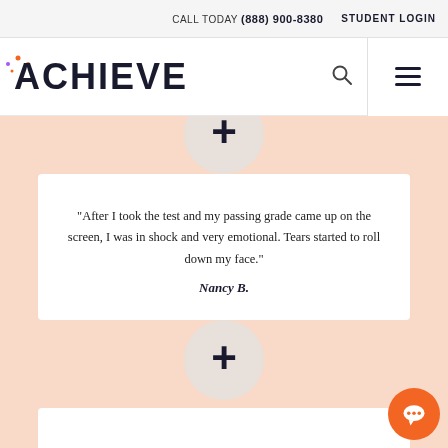CALL TODAY (888) 900-8380  STUDENT LOGIN
[Figure (logo): Achieve test prep logo with colorful spark dots above the A]
"After I took the test and my passing grade came up on the screen, I was in shock and very emotional. Tears started to roll down my face."
Nancy B.